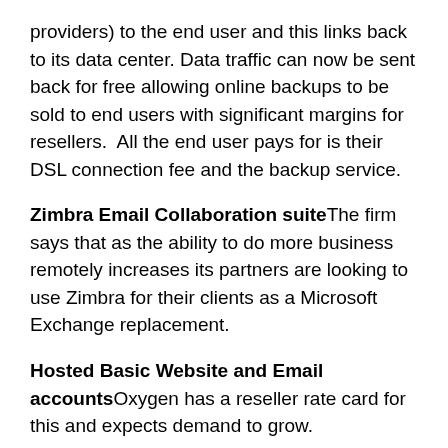providers) to the end user and this links back to its data center. Data traffic can now be sent back for free allowing online backups to be sold to end users with significant margins for resellers.  All the end user pays for is their DSL connection fee and the backup service.
Zimbra Email Collaboration suiteThe firm says that as the ability to do more business remotely increases its partners are looking to use Zimbra for their clients as a Microsoft Exchange replacement.
Hosted Basic Website and Email accountsOxygen has a reseller rate card for this and expects demand to grow.
Stace Hema, Managing Director, says that business has been good since starting its Oxynet.co.nz business, “We are becoming a major power in provisioning cloud solutions for our own customers